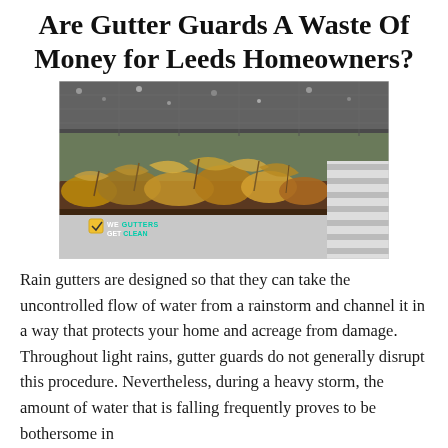Are Gutter Guards A Waste Of Money for Leeds Homeowners?
[Figure (photo): Close-up photo of a clogged rain gutter filled with dry leaves and debris, with roof shingles visible above and a white striped downspout visible at lower right. A watermark reading 'WE GUTTERS GET CLEAN' is visible in the lower left of the image.]
Rain gutters are designed so that they can take the uncontrolled flow of water from a rainstorm and channel it in a way that protects your home and acreage from damage. Throughout light rains, gutter guards do not generally disrupt this procedure. Nevertheless, during a heavy storm, the amount of water that is falling frequently proves to be bothersome in